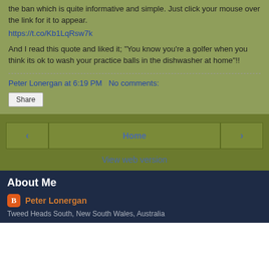the ban which is quite informative and simple. Just click your mouse over the link for it to appear.
https://t.co/Kb1LqRsw7k
And I read this quote and liked it; "You know you're a golfer when you think its ok to wash your practice balls in the dishwasher at home"!!
Peter Lonergan at 6:19 PM   No comments:
Share
Home
View web version
About Me
Peter Lonergan
Tweed Heads South, New South Wales, Australia